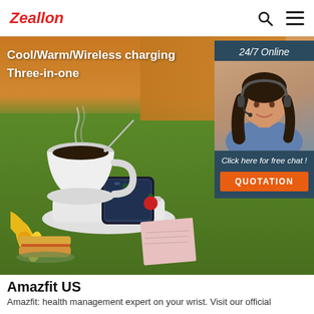Zeallon
[Figure (photo): Product hero image showing a white smart mug warmer with a coffee cup and smartphone on a green table surface with orange background. Text overlay reads 'Cool/Warm/Wireless charging Three-in-one'. A chat widget on the right shows a customer service agent with '24/7 Online', 'Click here for free chat!' and 'QUOTATION' button.]
Amazfit US
Amazfit: health management expert on your wrist. Visit our official